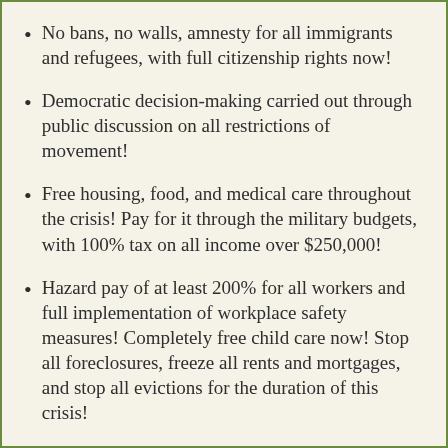No bans, no walls, amnesty for all immigrants and refugees, with full citizenship rights now!
Democratic decision-making carried out through public discussion on all restrictions of movement!
Free housing, food, and medical care throughout the crisis! Pay for it through the military budgets, with 100% tax on all income over $250,000!
Hazard pay of at least 200% for all workers and full implementation of workplace safety measures! Completely free child care now! Stop all foreclosures, freeze all rents and mortgages, and stop all evictions for the duration of this crisis!